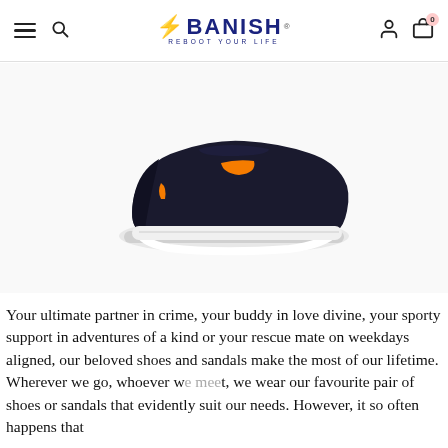BANISH — REBOOT YOUR LIFE (navigation bar with hamburger menu, search, logo, user icon, cart)
[Figure (photo): A black slip-on casual sneaker with an orange elastic band accent on the side and a white chunky sole, displayed on a white/light grey background.]
Your ultimate partner in crime, your buddy in love divine, your sporty support in adventures of a kind or your rescue mate on weekdays aligned, our beloved shoes and sandals make the most of our lifetime. Wherever we go, whoever we meet, we wear our favourite pair of shoes or sandals that evidently suit our needs. However, it so often happens that